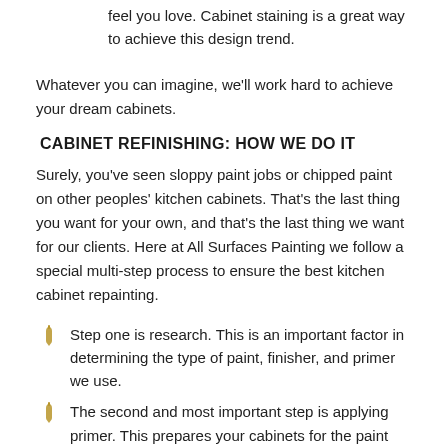feel you love. Cabinet staining is a great way to achieve this design trend.
Whatever you can imagine, we'll work hard to achieve your dream cabinets.
CABINET REFINISHING: HOW WE DO IT
Surely, you've seen sloppy paint jobs or chipped paint on other peoples' kitchen cabinets. That's the last thing you want for your own, and that's the last thing we want for our clients. Here at All Surfaces Painting we follow a special multi-step process to ensure the best kitchen cabinet repainting.
Step one is research. This is an important factor in determining the type of paint, finisher, and primer we use.
The second and most important step is applying primer. This prepares your cabinets for the paint job.
When the primer has dried, we'll apply your chosen paint color, using as many coats necessary to get your desired look.